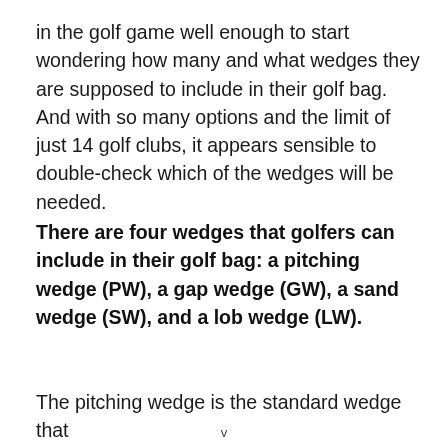in the golf game well enough to start wondering how many and what wedges they are supposed to include in their golf bag. And with so many options and the limit of just 14 golf clubs, it appears sensible to double-check which of the wedges will be needed.
There are four wedges that golfers can include in their golf bag: a pitching wedge (PW), a gap wedge (GW), a sand wedge (SW), and a lob wedge (LW).
The pitching wedge is the standard wedge that